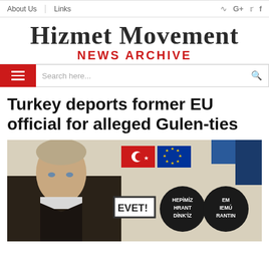About Us  Links
Hizmet Movement News Archive
Search here...
Turkey deports former EU official for alleged Gulen-ties
[Figure (photo): Man seated in front of political posters including EVET! sign and circular Hepimiz Hrant Dink'iz posters, with Turkish and EU flags in background]